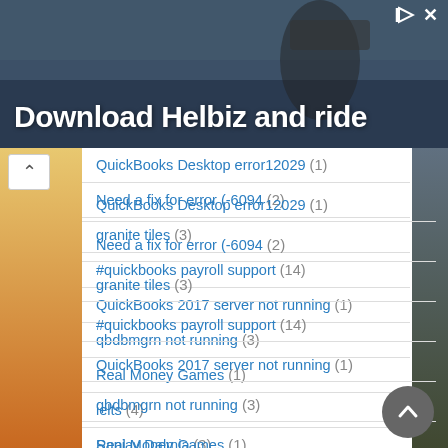[Figure (photo): Advertisement banner showing 'Download Helbiz and ride' with outdoor/urban background image]
QuickBooks Desktop error12029 (1)
Need a fix for error (-6094 (2)
granite tiles (3)
#quickbooks payroll support (14)
QuickBooks 2017 server not running (1)
qbdbmgrn not running (3)
Real Money Games (1)
ielts (4)
Sanjay Dalmia (3)
College festivals planners (1)
#quickbooks error code 12152 (2)